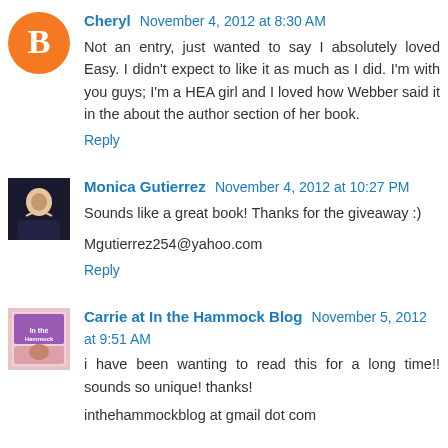Cheryl November 4, 2012 at 8:30 AM
Not an entry, just wanted to say I absolutely loved Easy. I didn't expect to like it as much as I did. I'm with you guys; I'm a HEA girl and I loved how Webber said it in the about the author section of her book.
Reply
Monica Gutierrez November 4, 2012 at 10:27 PM
Sounds like a great book! Thanks for the giveaway :)
Mgutierrez254@yahoo.com
Reply
Carrie at In the Hammock Blog November 5, 2012 at 9:51 AM
i have been wanting to read this for a long time!! sounds so unique! thanks!
inthehammockblog at gmail dot com